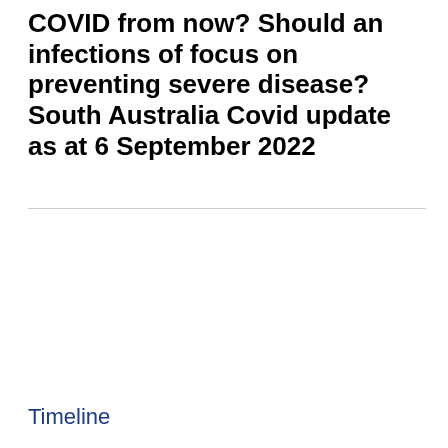COVID from now? Should an infections of focus on preventing severe disease? South Australia Covid update as at 6 September 2022
Timeline